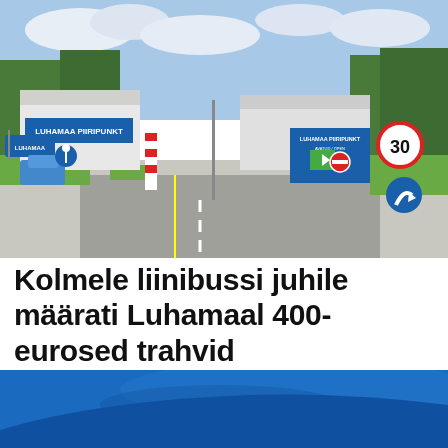[Figure (photo): Border crossing checkpoint 'Luhamaa piiripunkt' with road signs, blue directional signs, a speed limit sign showing 30, and a right-turn sign. A road leading to a white checkpoint building with trees in the background.]
Kolmele liinibussi juhile määrati Luhamaal 400-eurosed trahvid
[Figure (photo): Partial view of a blue car roof/hood at the bottom of the page, partially obscured by a Facebook Messenger chat button icon in the lower left.]